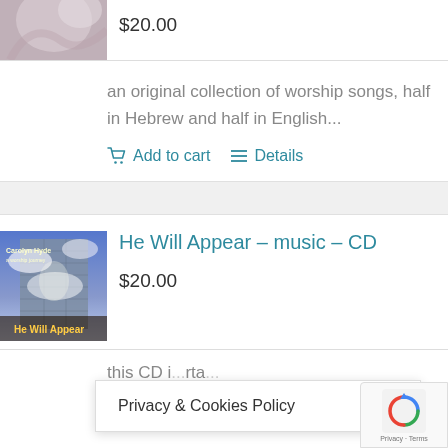[Figure (photo): Partial product image, top-left corner, showing a draped fabric or marble texture]
$20.00
an original collection of worship songs, half in Hebrew and half in English...
Add to cart   Details
[Figure (photo): Album cover for 'He Will Appear' by Carolyn Hyde, showing a building with dramatic sky and clouds]
He Will Appear – music – CD
$20.00
this CD i...rta...
Privacy & Cookies Policy